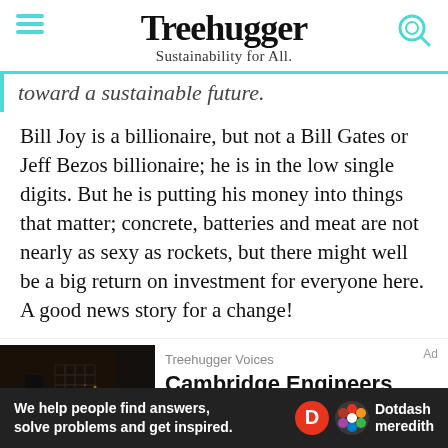Treehugger — Sustainability for All.
toward a sustainable future.
Bill Joy is a billionaire, but not a Bill Gates or Jeff Bezos billionaire; he is in the low single digits. But he is putting his money into things that matter; concrete, batteries and meat are not nearly as sexy as rockets, but there might well be a big return on investment for everyone here. A good news story for a change!
Treehugger Voices
Cambridge Engineers Develop Zero Carbon Cement
[Figure (photo): Industrial furnace or forge with glowing hot metal and sparks, dark background]
We help people find answers, solve problems and get inspired.
[Figure (logo): Dotdash meredith logo with D circle icon and colorful flower icon]